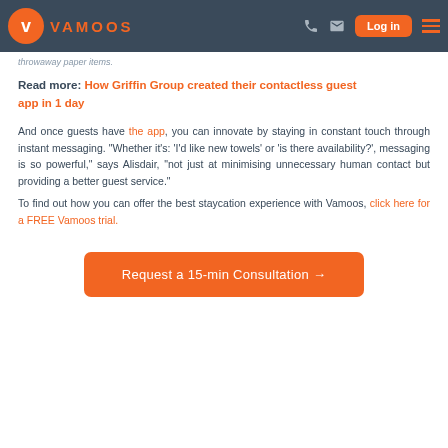VAMOOS — navigation bar with logo, phone icon, email icon, Log in button, hamburger menu
throwaway paper items.
Read more: How Griffin Group created their contactless guest app in 1 day
And once guests have the app, you can innovate by staying in constant touch through instant messaging. “Whether it’s: ‘I’d like new towels’ or ‘is there availability?’, messaging is so powerful,” says Alisdair, “not just at minimising unnecessary human contact but providing a better guest service.”
To find out how you can offer the best staycation experience with Vamoos, click here for a FREE Vamoos trial.
Request a 15-min Consultation →